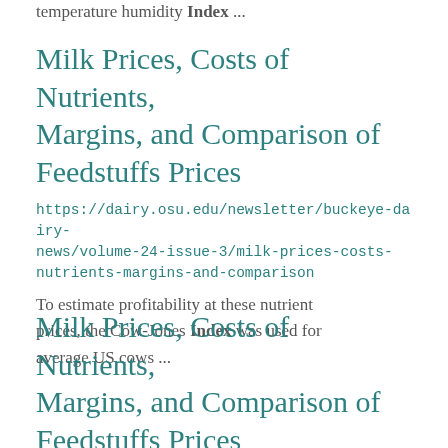temperature humidity Index ...
Milk Prices, Costs of Nutrients, Margins, and Comparison of Feedstuffs Prices
https://dairy.osu.edu/newsletter/buckeye-dairy-news/volume-24-issue-3/milk-prices-costs-nutrients-margins-and-comparison
To estimate profitability at these nutrient prices, the Cow-Jones Index was used for average US cows ...
Milk Prices, Costs of Nutrients, Margins, and Comparison of Feedstuffs Prices